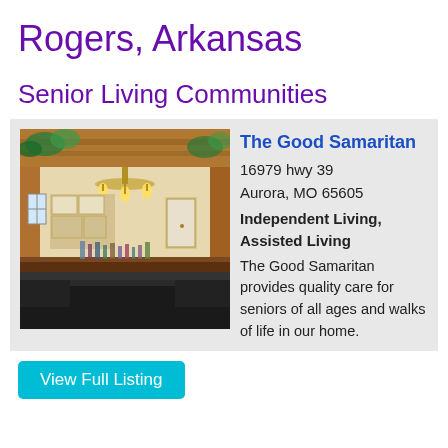Rogers, Arkansas
Senior Living Communities
[Figure (photo): Interior photo of The Good Samaritan showing a living/dining area with chandelier, wood beams, and kitchen in background]
The Good Samaritan
16979 hwy 39
Aurora, MO 65605
Independent Living, Assisted Living
The Good Samaritan provides quality care for seniors of all ages and walks of life in our home.
View Full Listing